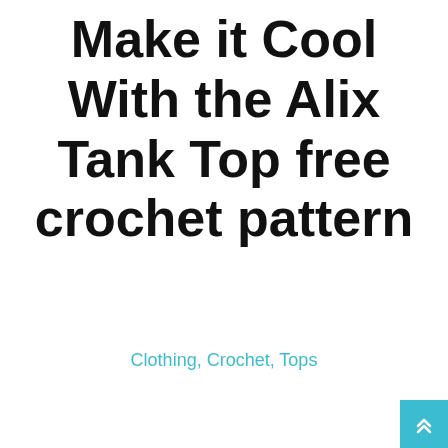Make it Cool With the Alix Tank Top free crochet pattern
Clothing, Crochet, Tops